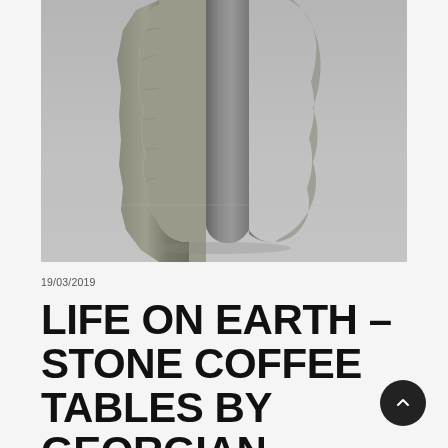[Figure (photo): Close-up photograph of a rough stone block with a smooth polished channel or groove carved through its center, set on a light grey surface.]
19/03/2019
LIFE ON EARTH – STONE COFFEE TABLES BY GEORGIAN DESIGN STUDIO